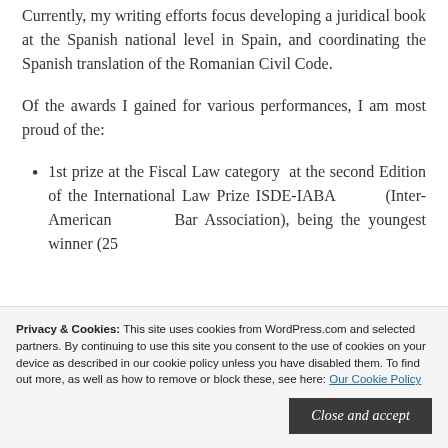Currently, my writing efforts focus developing a juridical book at the Spanish national level in Spain, and coordinating the Spanish translation of the Romanian Civil Code.
Of the awards I gained for various performances, I am most proud of the:
1st prize at the Fiscal Law category at the second Edition of the International Law Prize ISDE-IABA (Inter-American Bar Association), being the youngest winner (25...
Privacy & Cookies: This site uses cookies from WordPress.com and selected partners. By continuing to use this site you consent to the use of cookies on your device as described in our cookie policy unless you have disabled them. To find out more, as well as how to remove or block these, see here: Our Cookie Policy